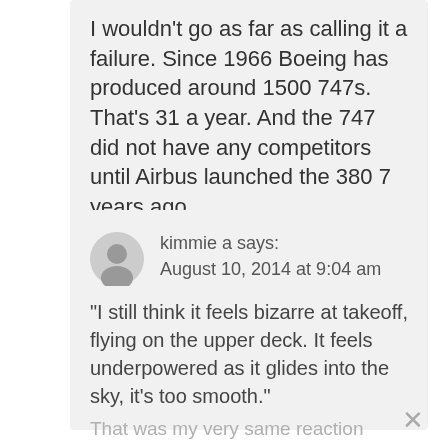I wouldn't go as far as calling it a failure. Since 1966 Boeing has produced around 1500 747s. That's 31 a year. And the 747 did not have any competitors until Airbus launched the 380 7 years ago.
kimmie a says: August 10, 2014 at 9:04 am
“I still think it feels bizarre at takeoff, flying on the upper deck. It feels underpowered as it glides into the sky, it’s too smooth.”
That was my very same reaction